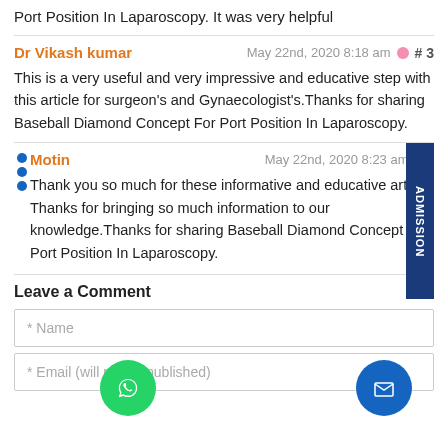Port Position In Laparoscopy. It was very helpful
Dr Vikash kumar — May 22nd, 2020 8:18 am #3
This is a very useful and very impressive and educative step with this article for surgeon's and Gynaecologist's.Thanks for sharing Baseball Diamond Concept For Port Position In Laparoscopy.
Motin — May 22nd, 2020 8:23 am #4
Thank you so much for these informative and educative article. Thanks for bringing so much information to our knowledge.Thanks for sharing Baseball Diamond Concept For Port Position In Laparoscopy.
Leave a Comment
* Name
* Email (will not be published)